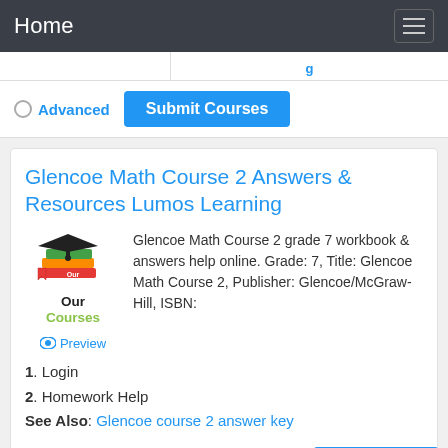Home
Glencoe Math Course 2 Answers & Resources Lumos Learning
[Figure (logo): Our Courses logo with graduation cap and stacked books, with Preview link below]
Glencoe Math Course 2 grade 7 workbook & answers help online. Grade: 7, Title: Glencoe Math Course 2, Publisher: Glencoe/McGraw-Hill, ISBN:
1. Login
2. Homework Help
See Also: Glencoe course 2 answer key